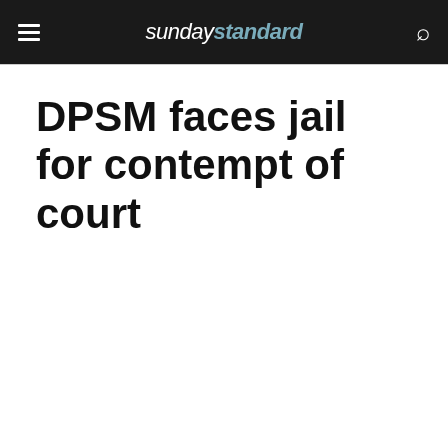sundaystandard
DPSM faces jail for contempt of court